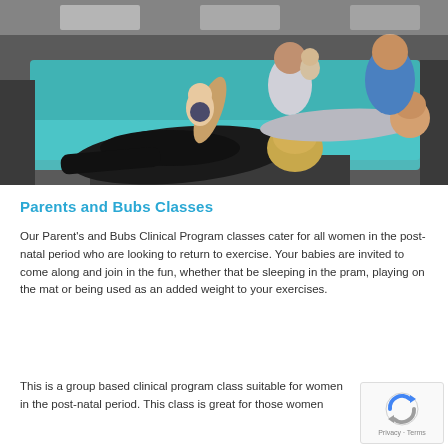[Figure (photo): Group fitness class with mothers and babies on teal/turquoise exercise mats in a studio. In the foreground, a woman in black clothing lies on a mat doing a side-lying exercise while holding a baby. In the background, other women with babies lie on mats.]
Parents and Bubs Classes
Our Parent's and Bubs Clinical Program classes cater for all women in the post-natal period who are looking to return to exercise. Your babies are invited to come along and join in the fun, whether that be sleeping in the pram, playing on the mat or being used as an added weight to your exercises.
This is a group based clinical program class suitable for women in the post-natal period. This class is great for those women